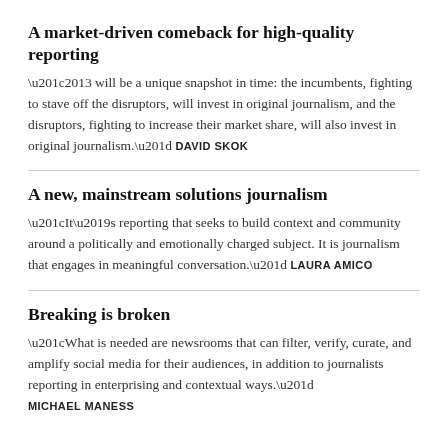A market-driven comeback for high-quality reporting
“2013 will be a unique snapshot in time: the incumbents, fighting to stave off the disruptors, will invest in original journalism, and the disruptors, fighting to increase their market share, will also invest in original journalism.” DAVID SKOK
A new, mainstream solutions journalism
“It’s reporting that seeks to build context and community around a politically and emotionally charged subject. It is journalism that engages in meaningful conversation.” LAURA AMICO
Breaking is broken
“What is needed are newsrooms that can filter, verify, curate, and amplify social media for their audiences, in addition to journalists reporting in enterprising and contextual ways.” MICHAEL MANESS